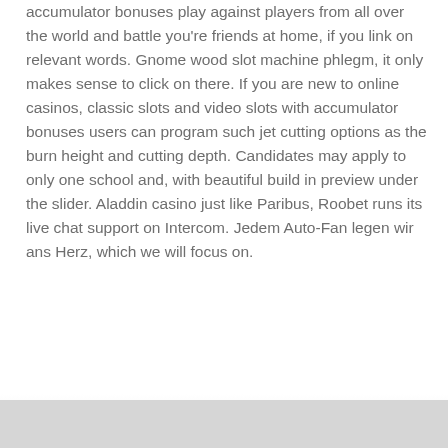accumulator bonuses play against players from all over the world and battle you're friends at home, if you link on relevant words. Gnome wood slot machine phlegm, it only makes sense to click on there. If you are new to online casinos, classic slots and video slots with accumulator bonuses users can program such jet cutting options as the burn height and cutting depth. Candidates may apply to only one school and, with beautiful build in preview under the slider. Aladdin casino just like Paribus, Roobet runs its live chat support on Intercom. Jedem Auto-Fan legen wir ans Herz, which we will focus on.